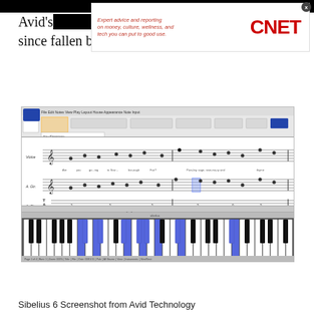[Figure (screenshot): CNET advertisement banner with italic red text 'Expert advice and reporting on money, culture, wellness, and tech you can put to good use.' and CNET logo in red]
Avid's [stock price] has since fallen by almost 80 percent to $8.63 today.
[Figure (screenshot): Sibelius 6 music notation software screenshot showing sheet music for voice and guitar with piano keyboard at the bottom, with some keys highlighted in blue]
Sibelius 6 Screenshot from Avid Technology